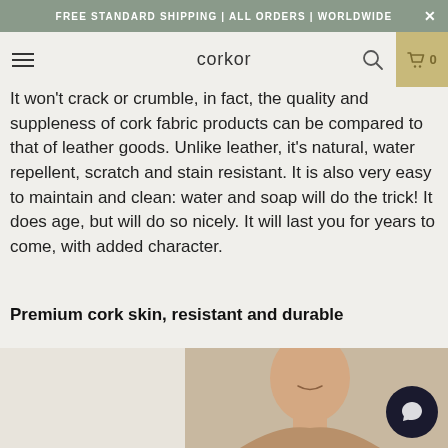FREE STANDARD SHIPPING | ALL ORDERS | WORLDWIDE
corkor  0
It won't crack or crumble, in fact, the quality and suppleness of cork fabric products can be compared to that of leather goods. Unlike leather, it's natural, water repellent, scratch and stain resistant. It is also very easy to maintain and clean: water and soap will do the trick! It does age, but will do so nicely. It will last you for years to come, with added character.
Premium cork skin, resistant and durable
[Figure (photo): Woman smiling, wearing a brown/tan garment, photographed from neck up, light background. Part of a split image layout.]